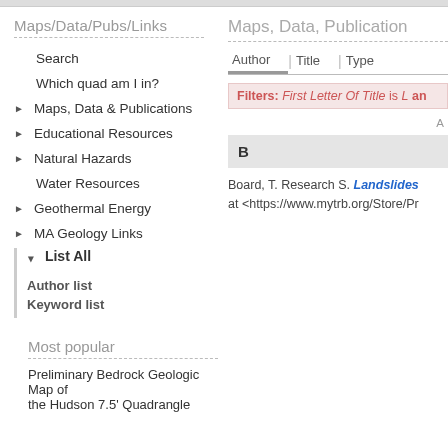Maps/Data/Pubs/Links
Search
Which quad am I in?
Maps, Data & Publications
Educational Resources
Natural Hazards
Water Resources
Geothermal Energy
MA Geology Links
List All
Author list
Keyword list
Most popular
Preliminary Bedrock Geologic Map of the Hudson 7.5' Quadrangle
Maps, Data, Publication
Filters: First Letter Of Title is L an
A
B
Board, T. Research S. Landslides at <https://www.mytrb.org/Store/Pr